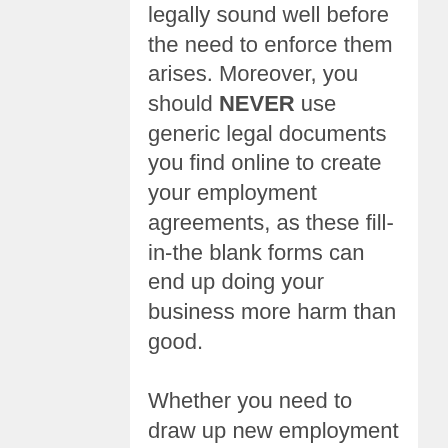legally sound well before the need to enforce them arises. Moreover, you should NEVER use generic legal documents you find online to create your employment agreements, as these fill-in-the blank forms can end up doing your business more harm than good.
Whether you need to draw up new employment agreements containing restrictive covenants, or you would like us to review your existing agreements, meet with us today. We can help you identify the proprietary information and processes that warrant such protections and tailor your agreements to ensure these